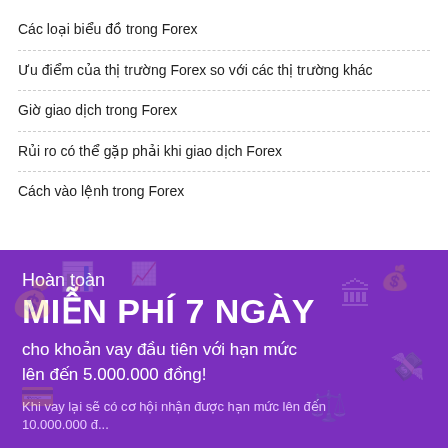Các loại biểu đồ trong Forex
Ưu điểm của thị trường Forex so với các thị trường khác
Giờ giao dịch trong Forex
Rủi ro có thể gặp phải khi giao dịch Forex
Cách vào lệnh trong Forex
[Figure (infographic): Purple promotional banner for a loan product. Text reads: 'Hoàn toàn MIỄN PHÍ 7 NGÀY cho khoản vay đầu tiên với hạn mức lên đến 5.000.000 đồng! Khi vay lại sẽ có cơ hội nhận được hạn mức lên đến 10.000.000 đồng']